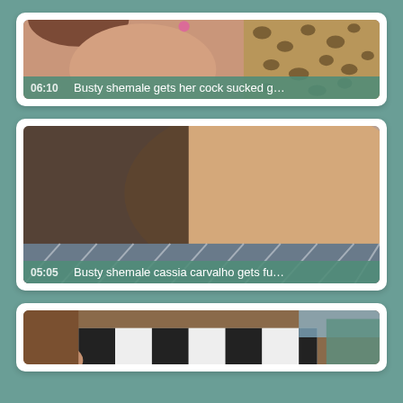[Figure (photo): Video thumbnail card 1: partial view of woman with leopard print background, duration 06:10, title 'Busty shemale gets her cock sucked g...']
[Figure (photo): Video thumbnail card 2: close-up blurry skin/body image on patterned bedding, duration 05:05, title 'Busty shemale cassia carvalho gets fu...']
[Figure (photo): Video thumbnail card 3: partial view of person on patterned bedding, partially visible at bottom of page]